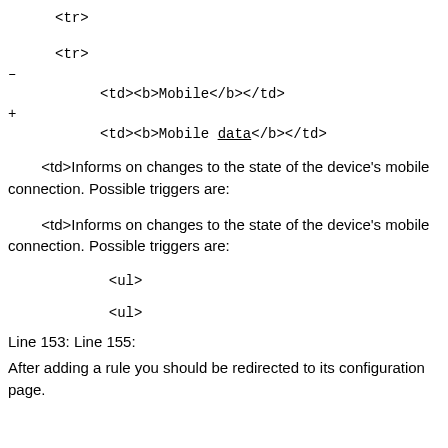<tr>
<tr>
–
<td><b>Mobile</b></td>
+
<td><b>Mobile data</b></td>
<td>Informs on changes to the state of the device's mobile connection. Possible triggers are:
<td>Informs on changes to the state of the device's mobile connection. Possible triggers are:
<ul>
<ul>
Line 153: Line 155:
After adding a rule you should be redirected to its configuration page.